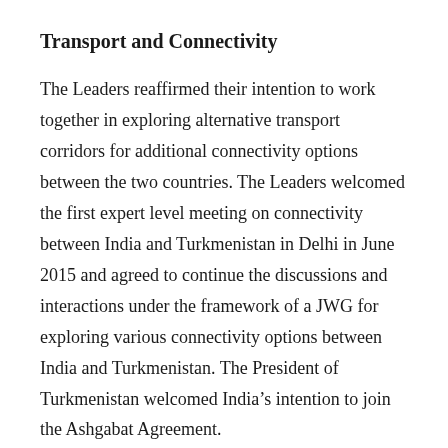Transport and Connectivity
The Leaders reaffirmed their intention to work together in exploring alternative transport corridors for additional connectivity options between the two countries. The Leaders welcomed the first expert level meeting on connectivity between India and Turkmenistan in Delhi in June 2015 and agreed to continue the discussions and interactions under the framework of a JWG for exploring various connectivity options between India and Turkmenistan. The President of Turkmenistan welcomed India’s intention to join the Ashgabat Agreement.
The Leaders acknowledged the significance of Turkmenistan as a gateway to other Central Asian countries and the Caspian region and agreed to support each other’s initiatives in enhancing transport corridors and infrastructure to facilitate